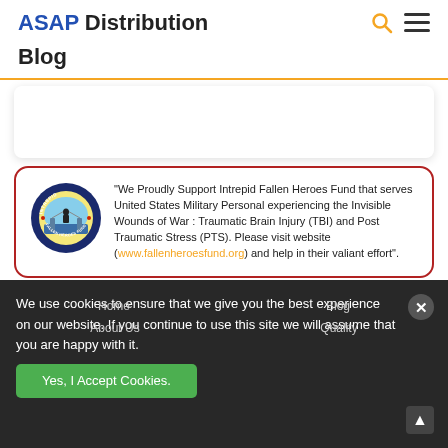ASAP Distribution
Blog
[Figure (other): Intrepid Fallen Heroes Fund circular logo with a soldier silhouette and blue/yellow colors, surrounded by text 'INTREPID FALLEN HEROES FUND']
"We Proudly Support Intrepid Fallen Heroes Fund that serves United States Military Personal experiencing the Invisible Wounds of War : Traumatic Brain Injury (TBI) and Post Traumatic Stress (PTS). Please visit website (www.fallenheroesfund.org) and help in their valiant effort".
We use cookies to ensure that we give you the best experience on our website. If you continue to use this site we will assume that you are happy with it.